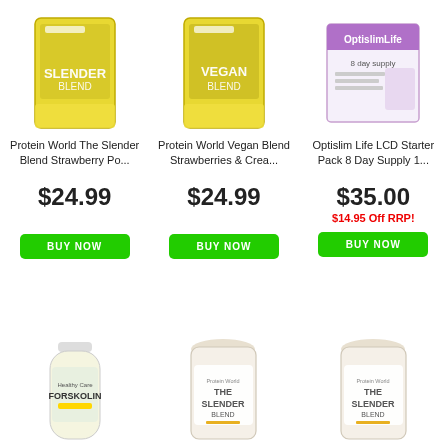[Figure (photo): Protein World Slender Blend yellow packet with woman]
Protein World The Slender Blend Strawberry Po...
$24.99
BUY NOW
[Figure (photo): Protein World Vegan Blend yellow packet with woman]
Protein World Vegan Blend Strawberries & Crea...
$24.99
BUY NOW
[Figure (photo): Optislim Life LCD Starter Pack 8 Day Supply box]
Optislim Life LCD Starter Pack 8 Day Supply 1...
$35.00
$14.95 Off RRP!
BUY NOW
[Figure (photo): Healthy Care Forskolin bottle]
[Figure (photo): Protein World The Slender Blend jar]
[Figure (photo): Protein World The Slender Blend jar]